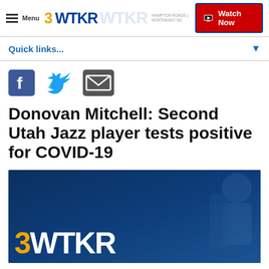3WTKR — Watch Now
Quick links...
[Figure (other): Social sharing icons: Facebook, Twitter, Email]
Donovan Mitchell: Second Utah Jazz player tests positive for COVID-19
[Figure (photo): 3WTKR news station branded image with dark blue background and gold and white station logo text]